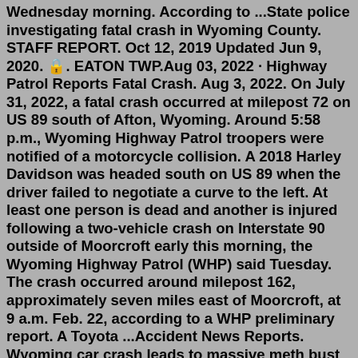Wednesday morning. According to ...State police investigating fatal crash in Wyoming County. STAFF REPORT. Oct 12, 2019 Updated Jun 9, 2020. 🔒. EATON TWP.Aug 03, 2022 · Highway Patrol Reports Fatal Crash. Aug 3, 2022. On July 31, 2022, a fatal crash occurred at milepost 72 on US 89 south of Afton, Wyoming. Around 5:58 p.m., Wyoming Highway Patrol troopers were notified of a motorcycle collision. A 2018 Harley Davidson was headed south on US 89 when the driver failed to negotiate a curve to the left. At least one person is dead and another is injured following a two-vehicle crash on Interstate 90 outside of Moorcroft early this morning, the Wyoming Highway Patrol (WHP) said Tuesday. The crash occurred around milepost 162, approximately seven miles east of Moorcroft, at 9 a.m. Feb. 22, according to a WHP preliminary report. A Toyota ...Accident News Reports. Wyoming car crash leads to massive meth bust at California warehouse. Wyoming; I-80; ... Wyoming car crash led federal agents to massive Santa Clara methamphetamine